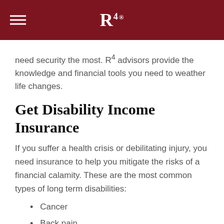R4
need security the most. R4 advisors provide the knowledge and financial tools you need to weather life changes.
Get Disability Income Insurance
If you suffer a health crisis or debilitating injury, you need insurance to help you mitigate the risks of a financial calamity. These are the most common types of long term disabilities:
Cancer
Back pain
Heart disease
Depression